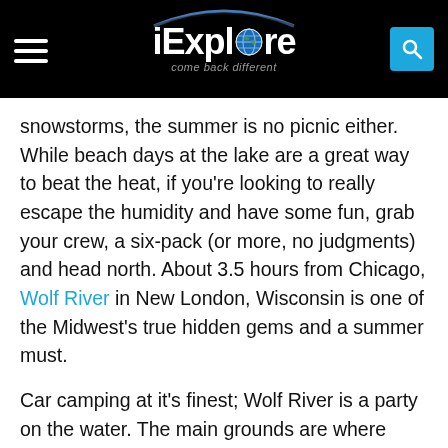iExplore — come back different
snowstorms, the summer is no picnic either. While beach days at the lake are a great way to beat the heat, if you're looking to really escape the humidity and have some fun, grab your crew, a six-pack (or more, no judgments) and head north. About 3.5 hours from Chicago, Wolf River in New London, Wisconsin is one of the Midwest's true hidden gems and a summer must.
Car camping at it's finest; Wolf River is a party on the water. The main grounds are where you'll find the most drunk teenagers and young adults, stumbling distance from the bar and pay showers, but if you want a